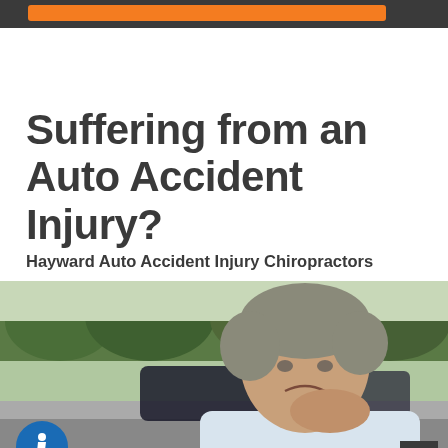Suffering from an Auto Accident Injury?
Hayward Auto Accident Injury Chiropractors
[Figure (photo): Middle-aged man in pain holding his neck after an auto accident, with a car and road visible in the background, trees in distance.]